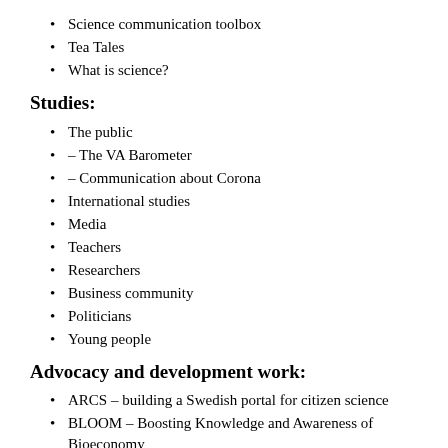Science communication toolbox
Tea Tales
What is science?
Studies:
The public
– The VA Barometer
– Communication about Corona
International studies
Media
Teachers
Researchers
Business community
Politicians
Young people
Advocacy and development work:
ARCS – building a Swedish portal for citizen science
BLOOM – Boosting Knowledge and Awareness of Bioeconomy
EU-Citizen.Science – for citizen science in Europe
Falling Walls Engage Hub Sweden